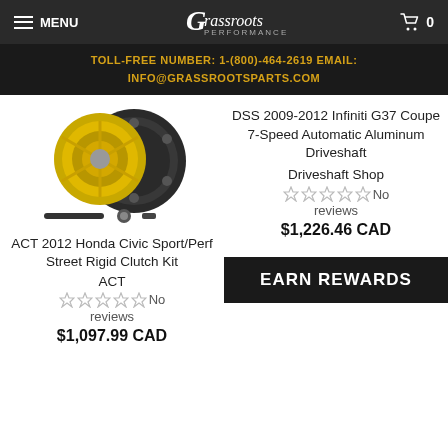MENU | Grassroots Performance | 0
TOLL-FREE NUMBER: 1-(800)-464-2619 EMAIL: INFO@GRASSROOTSPARTS.COM
[Figure (photo): Clutch kit product photo showing yellow pressure plate, flywheel, and accessories]
ACT 2012 Honda Civic Sport/Perf Street Rigid Clutch Kit
ACT
No reviews
$1,097.99 CAD
DSS 2009-2012 Infiniti G37 Coupe 7-Speed Automatic Aluminum Driveshaft
Driveshaft Shop
No reviews
$1,226.46 CAD
EARN REWARDS